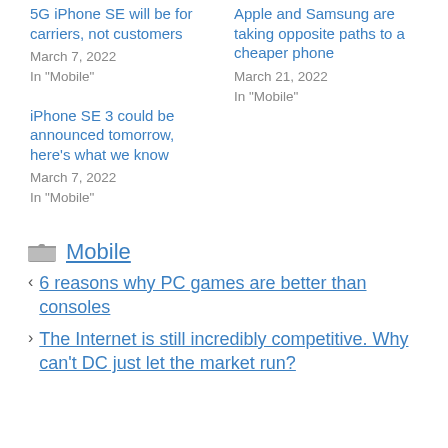5G iPhone SE will be for carriers, not customers
March 7, 2022
In "Mobile"
Apple and Samsung are taking opposite paths to a cheaper phone
March 21, 2022
In "Mobile"
iPhone SE 3 could be announced tomorrow, here's what we know
March 7, 2022
In "Mobile"
Mobile
< 6 reasons why PC games are better than consoles
> The Internet is still incredibly competitive. Why can't DC just let the market run?